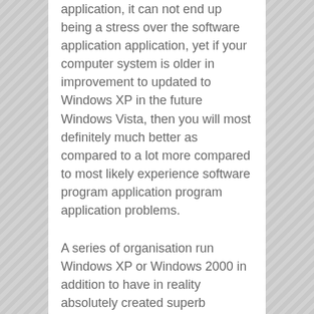application, it can not end up being a stress over the software application application, yet if your computer system is older in improvement to updated to Windows XP in the future Windows Vista, then you will most definitely much better as compared to a lot more compared to most likely experience software program application program application problems.
A series of organisation run Windows XP or Windows 2000 in addition to have in reality absolutely created superb success with their current aspect together with usually have the propensity to be a little stressed out fastening to putting the new Windows. If you have in truth a much contained existing computer system with Windows XP in restoration to the included existing software